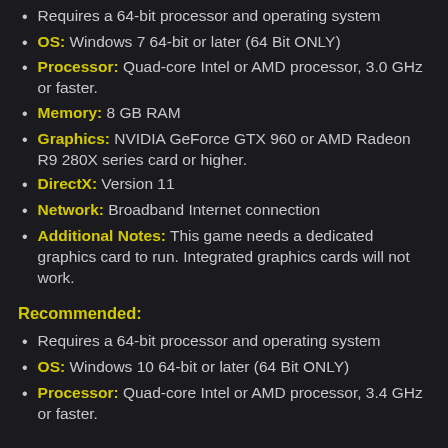Requires a 64-bit processor and operating system
OS: Windows 7 64-bit or later (64 Bit ONLY)
Processor: Quad-core Intel or AMD processor, 3.0 GHz or faster.
Memory: 8 GB RAM
Graphics: NVIDIA GeForce GTX 960 or AMD Radeon R9 280X series card or higher.
DirectX: Version 11
Network: Broadband Internet connection
Additional Notes: This game needs a dedicated graphics card to run. Integrated graphics cards will not work.
Recommended:
Requires a 64-bit processor and operating system
OS: Windows 10 64-bit or later (64 Bit ONLY)
Processor: Quad-core Intel or AMD processor, 3.4 GHz or faster.